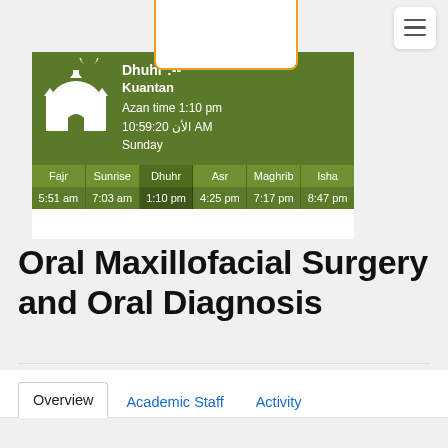[Figure (screenshot): Prayer times widget showing Dhuhr prayer for Kuantan. Header: mosque icon, prayer name Dhuhr, location Kuantan, Azan time 1:10 pm, current time 10:59:20 AM, Sunday. Table rows: headers Fajr, Sunrise, Dhuhr, Asr, Maghrib, Isha; times 5:51 am, 7:03 am, 1:10 pm, 4:25 pm, 7:17 pm, 8:47 pm.]
Oral Maxillofacial Surgery and Oral Diagnosis
Overview | Academic Staff | Activity